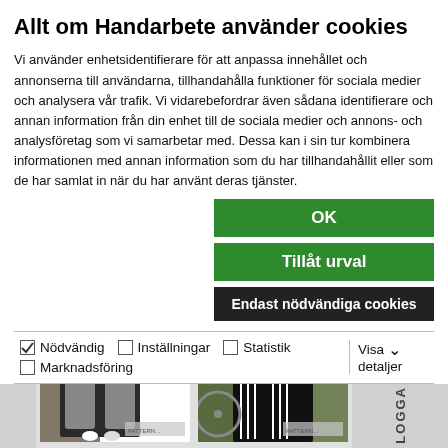Allt om Handarbete använder cookies
Vi använder enhetsidentifierare för att anpassa innehållet och annonserna till användarna, tillhandahålla funktioner för sociala medier och analysera vår trafik. Vi vidarebefordrar även sådana identifierare och annan information från din enhet till de sociala medier och annons- och analysföretag som vi samarbetar med. Dessa kan i sin tur kombinera informationen med annan information som du har tillhandahållit eller som de har samlat in när du har använt deras tjänster.
OK
Tillåt urval
Endast nödvändiga cookies
Nödvändig  Inställningar  Statistik  Marknadsföring  Visa detaljer
[Figure (screenshot): Background showing two product images of clothing items (black wide-leg trousers / outfits) on a website, partially obscured by the cookie consent overlay. Right edge shows a vertical 'LOGGA' label strip.]